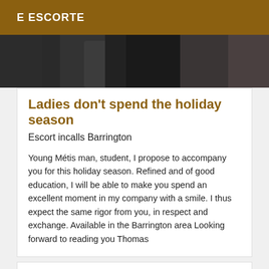E ESCORTE
[Figure (photo): Partial photo of a person in dark clothing against a stone/textured background, cropped to show lower body area only.]
Ladies don't spend the holiday season
Escort incalls Barrington
Young Métis man, student, I propose to accompany you for this holiday season. Refined and of good education, I will be able to make you spend an excellent moment in my company with a smile. I thus expect the same rigor from you, in respect and exchange. Available in the Barrington area Looking forward to reading you Thomas
[Figure (photo): Second listing card, appears blank/content not visible in this crop.]